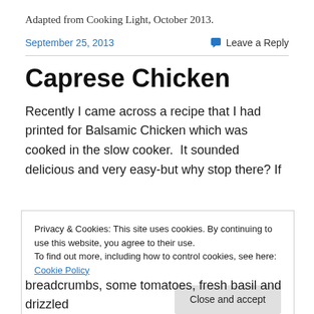Adapted from Cooking Light, October 2013.
September 25, 2013
Leave a Reply
Caprese Chicken
Recently I came across a recipe that I had printed for Balsamic Chicken which was cooked in the slow cooker.  It sounded delicious and very easy-but why stop there? If
Privacy & Cookies: This site uses cookies. By continuing to use this website, you agree to their use.
To find out more, including how to control cookies, see here: Cookie Policy
Close and accept
breadcrumbs, some tomatoes, fresh basil and drizzled